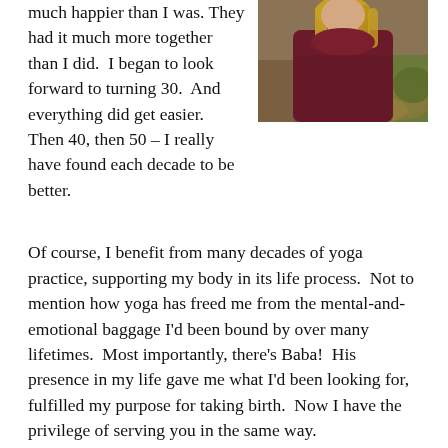much happier than I was. They had it much more together than I did.  I began to look forward to turning 30.  And everything did get easier.  Then 40, then 50 – I really have found each decade to be better.
[Figure (photo): A woman with blonde hair wearing a dark maroon/burgundy top, photographed outdoors with autumn foliage in the background.]
Of course, I benefit from many decades of yoga practice, supporting my body in its life process.  Not to mention how yoga has freed me from the mental-and-emotional baggage I'd been bound by over many lifetimes.  Most importantly, there's Baba!  His presence in my life gave me what I'd been looking for, fulfilled my purpose for taking birth.  Now I have the privilege of serving you in the same way.
In the intro mantras I sing before teaching, one line stands out today, describing Muktananda, who I am honoring in the chant: